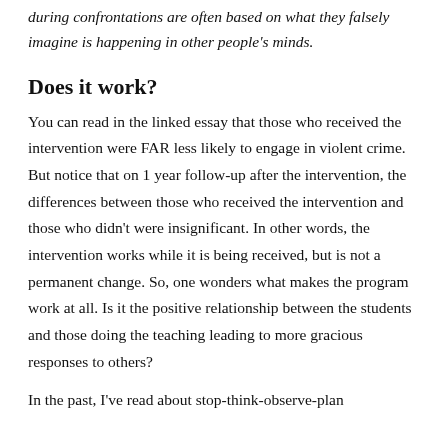during confrontations are often based on what they falsely imagine is happening in other people's minds.
Does it work?
You can read in the linked essay that those who received the intervention were FAR less likely to engage in violent crime. But notice that on 1 year follow-up after the intervention, the differences between those who received the intervention and those who didn't were insignificant. In other words, the intervention works while it is being received, but is not a permanent change. So, one wonders what makes the program work at all. Is it the positive relationship between the students and those doing the teaching leading to more gracious responses to others?
In the past, I've read about stop-think-observe-plan